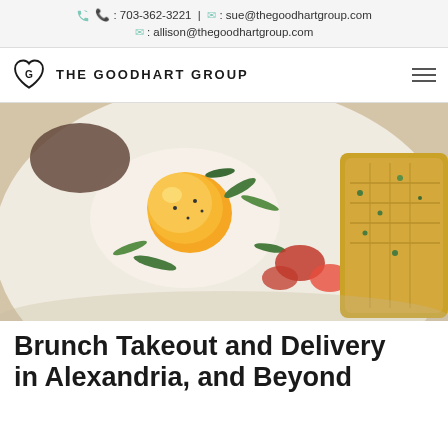📞 : 703-362-3221 | ✉ : sue@thegoodhartgroup.com ✉ : allison@thegoodhartgroup.com
[Figure (logo): The Goodhart Group logo with heart icon and navigation hamburger menu]
[Figure (photo): Close-up food photograph of a fried egg on a plate with fresh herbs, tomatoes, and hash brown or fried bread]
Brunch Takeout and Delivery in Alexandria, and Beyond